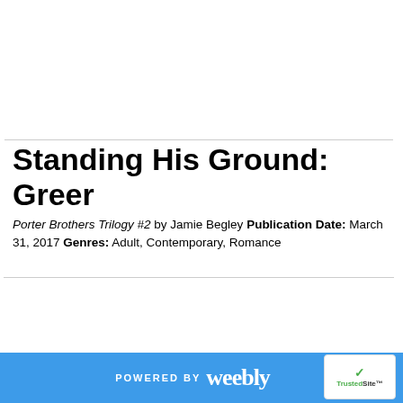[Figure (other): Blank white image/advertisement area at the top of the page]
Standing His Ground: Greer
Porter Brothers Trilogy #2 by Jamie Begley Publication Date: March 31, 2017 Genres: Adult, Contemporary, Romance
[Figure (other): Broken image placeholder (small) on left; purple circular scroll-up button on right]
POWERED BY weebly  TrustedSite